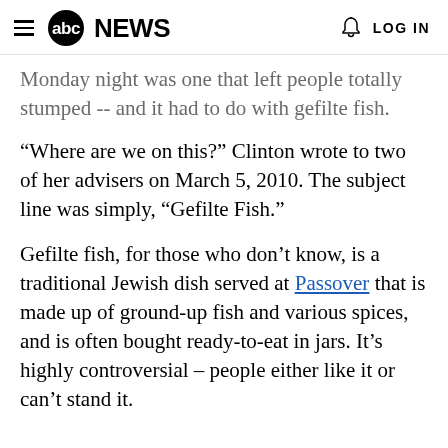abc NEWS  LOG IN
Monday night was one that left people totally stumped -- and it had to do with gefilte fish.
“Where are we on this?” Clinton wrote to two of her advisers on March 5, 2010. The subject line was simply, “Gefilte Fish.”
Gefilte fish, for those who don’t know, is a traditional Jewish dish served at Passover that is made up of ground-up fish and various spices, and is often bought ready-to-eat in jars. It’s highly controversial – people either like it or can’t stand it.
Some T—M Passover Clinton Email: Debate...